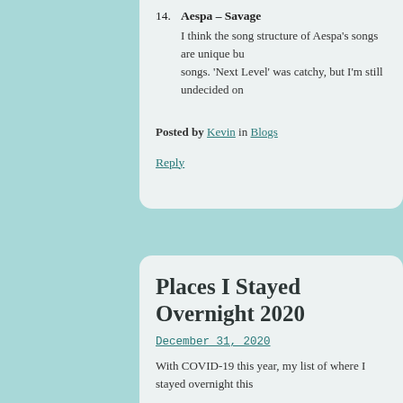14. Aespa - Savage
I think the song structure of Aespa's songs are unique bu... songs. 'Next Level' was catchy, but I'm still undecided on...
Posted by Kevin in Blogs
Reply
Places I Stayed Overnight 2020
December 31, 2020
With COVID-19 this year, my list of where I stayed overnight this...
Toronto, ON, Canada
Las Vegas, NV, USA